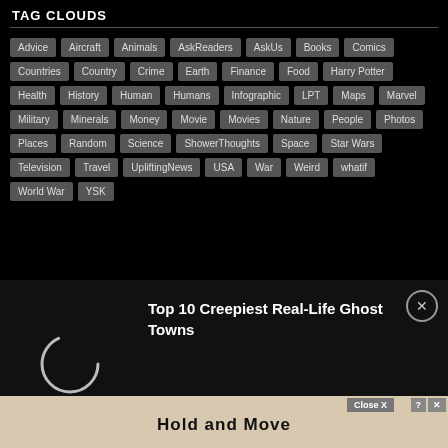TAG CLOUDS
Advice Aircraft Animals AskReaders AskUs Books Comics Countries Country Crime Earth Finance Food Harry Potter Health History Human Humans Infographic LPT Maps Marvel Military Minerals Money Movie Movies Nature People Photos Places Random Science ShowerThoughts Space Star Wars Television Travel UpliftingNews USA War Weird whatif World War YSK
Top 10 Creepiest Real-Life Ghost Towns
[Figure (other): Loading spinner circle]
Hold and Move